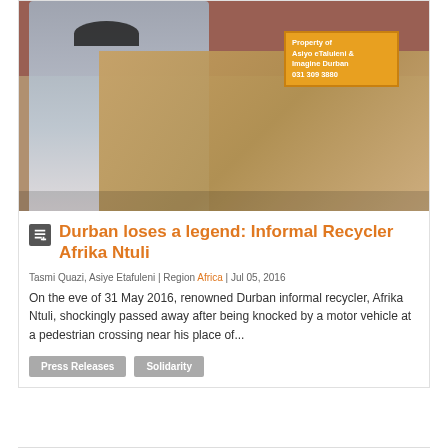[Figure (photo): A man in a white t-shirt and dark cap standing with arm raised, surrounded by stacked cardboard boxes. A yellow sign reading 'Property of Asiyo eTaluleni & Imagine Durban 031 309 3880' is visible in the background against a brick wall.]
Durban loses a legend: Informal Recycler Afrika Ntuli
Tasmi Quazi, Asiye Etafuleni | Region Africa | Jul 05, 2016
On the eve of 31 May 2016, renowned Durban informal recycler, Afrika Ntuli, shockingly passed away after being knocked by a motor vehicle at a pedestrian crossing near his place of...
Press Releases
Solidarity